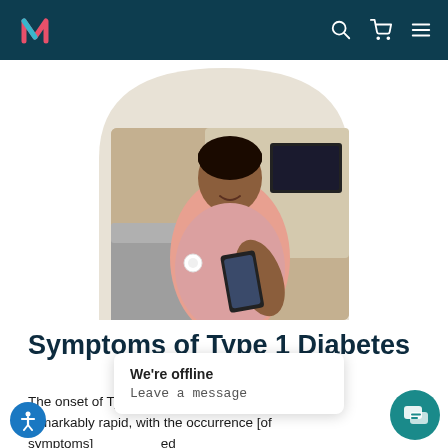Navigation bar with logo and icons (search, cart, menu)
[Figure (photo): A young Black woman smiling and looking at her smartphone, wearing a continuous glucose monitor patch on her upper arm, sitting on a couch in a home setting.]
Symptoms of Type 1 Diabetes
The onset of Type [1 Diabetes] can be remarkably rapid, with the occurrence [of symptoms] ed
We're offline
Leave a message